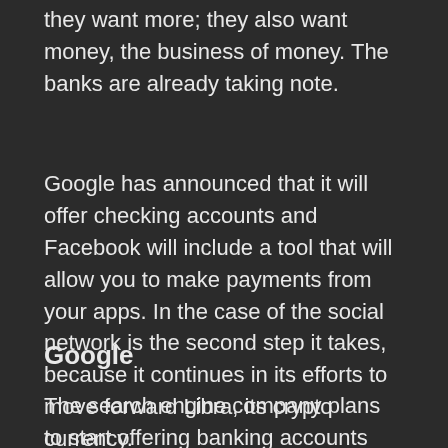they want more; they also want money, the business of money. The banks are already taking note.
Google has announced that it will offer checking accounts and Facebook will include a tool that will allow you to make payments from your apps. In the case of the social network is the second step it takes, because it continues in its efforts to move forward Libra, its crypto currency.
Google
The search engine company plans to start offering banking accounts next year, one more step in the